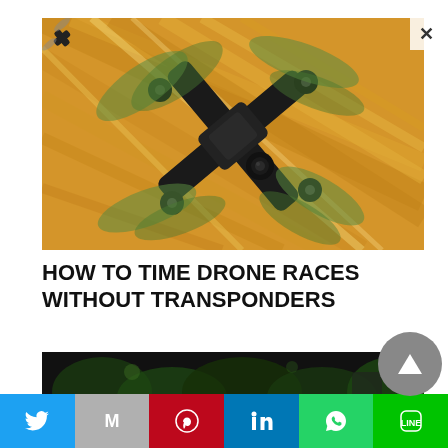[Figure (photo): A black quadcopter drone with green/translucent propellers hovering above a wooden surface, photographed from above at an angle. A close (X) button is visible in the top-right corner of the image.]
HOW TO TIME DRONE RACES WITHOUT TRANSPONDERS
[Figure (photo): Partial dark image showing green foliage in the background, likely a second article thumbnail or continuation image.]
Twitter | Gmail | Pinterest | LinkedIn | WhatsApp | LINE social share buttons